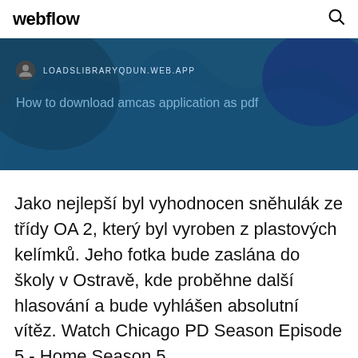webflow
[Figure (screenshot): Blue banner with map background showing URL LOADSLIBRARYQDUN.WEB.APP and title text 'How to download amcas application as pdf']
Jako nejlepší byl vyhodnocen sněhulák ze třídy OA 2, který byl vyroben z plastových kelímků. Jeho fotka bude zaslána do školy v Ostravě, kde proběhne další hlasování a bude vyhlášen absolutní vítěz. Watch Chicago PD Season Episode 5 - Home Season 5